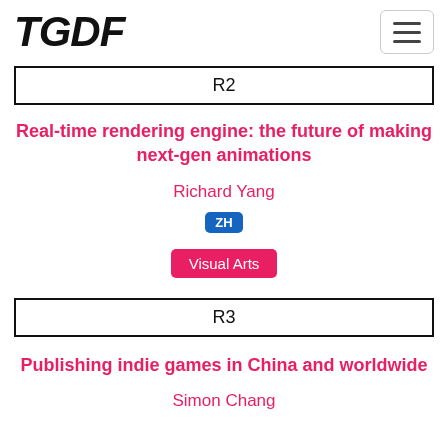TGDF
R2
Real-time rendering engine: the future of making next-gen animations
Richard Yang
ZH
Visual Arts
R3
Publishing indie games in China and worldwide
Simon Chang